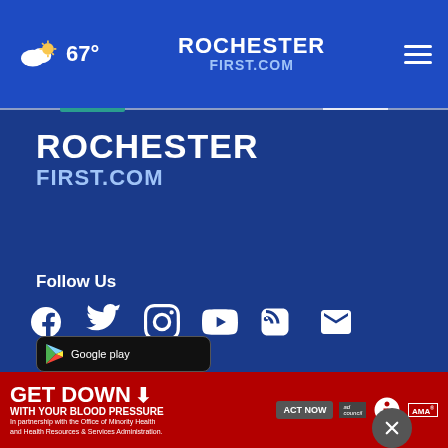67° | RochesterFirst.com
[Figure (logo): RochesterFirst.com large logo on blue background]
Follow Us
[Figure (infographic): Social media icons: Facebook, Twitter, Instagram, YouTube, RSS, Email]
News App
[Figure (screenshot): Download on the App Store button and Google Play partial button]
[Figure (infographic): Ad banner: GET DOWN WITH YOUR BLOOD PRESSURE - ACT NOW - American Heart Association and AMA logos]